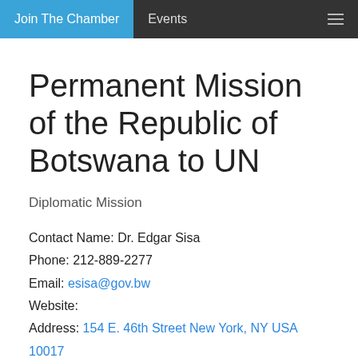Join The Chamber   Events
Permanent Mission of the Republic of Botswana to UN
Diplomatic Mission
Contact Name: Dr. Edgar Sisa
Phone: 212-889-2277
Email: esisa@gov.bw
Website:
Address: 154 E. 46th Street New York, NY USA 10017